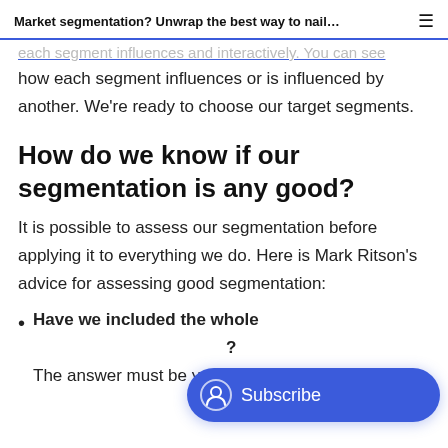Market segmentation? Unwrap the best way to nail…
each segment influences and interactively. You can see how each segment influences or is influenced by another. We're ready to choose our target segments.
How do we know if our segmentation is any good?
It is possible to assess our segmentation before applying it to everything we do. Here is Mark Ritson's advice for assessing good segmentation:
Have we included the whole [market]? The answer must be yes. If not, keep working